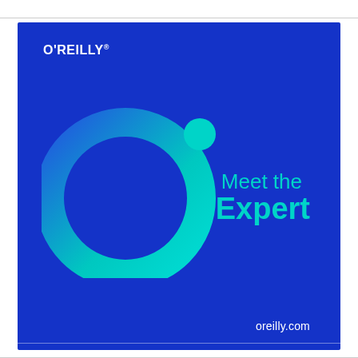[Figure (logo): O'Reilly 'Meet the Expert' promotional image. Dark blue background featuring the O'Reilly logo in white text at top left, a large gradient ring (blue to cyan) logo mark in the center-left, a small cyan circle above-right of the ring, and 'Meet the Expert' text in cyan on the right side. URL 'oreilly.com' in white at the bottom right.]